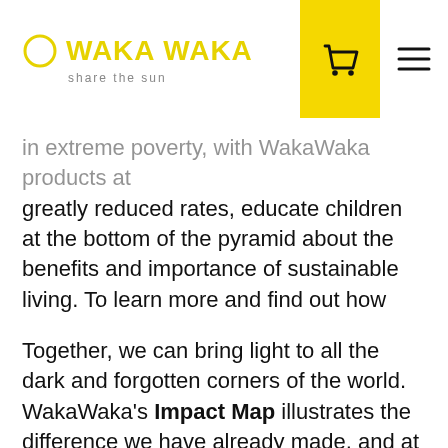WAKA WAKA share the sun
in extreme poverty, with WakaWaka products at greatly reduced rates, educate children at the bottom of the pyramid about the benefits and importance of sustainable living. To learn more and find out how you can get involved with the WakaWaka Foundation, please check out www.WakaWakaFoundation.org.
Together, we can bring light to all the dark and forgotten corners of the world. WakaWaka's Impact Map illustrates the difference we have already made, and at the same time that much more light is still needed. We want to hear from you. Can you help